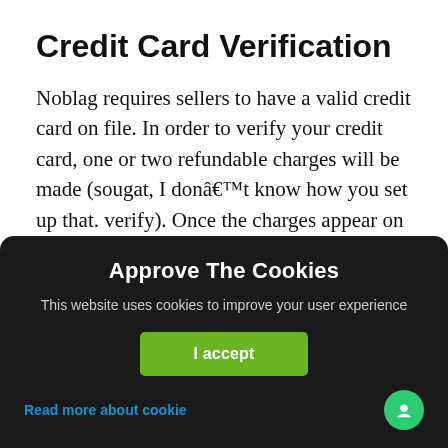Credit Card Verification
Noblag requires sellers to have a valid credit card on file. In order to verify your credit card, one or two refundable charges will be made (sougat, I donât know how you set up that. verify). Once the charges appear on your statement, you will need to confirm those amounts in your noblag account. Noblag will also verify your credit card information (including expiration date and billing address).
Approve The Cookies
This website uses cookies to improve your user experience
I accept
Read more about cookie